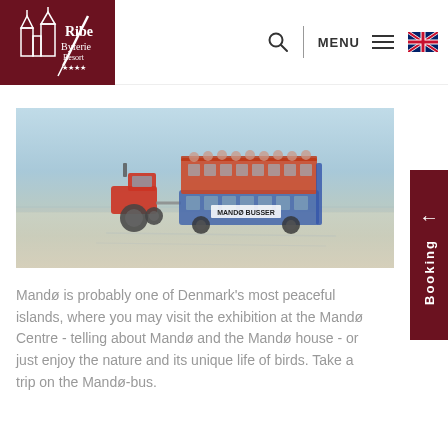Ribe Byferie Resort — navigation header with logo, search, menu, and language selector
[Figure (photo): A double-decker open-top bus labeled 'MANDØ BUSSER' being pulled by a red tractor across shallow tidal flats, with passengers visible on the upper deck. Light blue sky above, flat wet sand below.]
Mandø is probably one of Denmark's most peaceful islands, where you may visit the exhibition at the Mandø Centre - telling about Mandø and the Mandø house - or just enjoy the nature and its unique life of birds. Take a trip on the Mandø-bus.